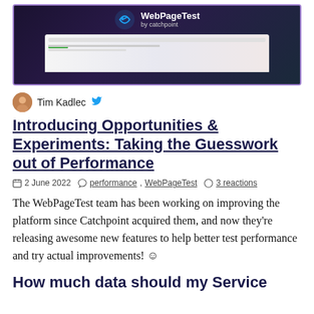[Figure (screenshot): WebPageTest by catchpoint banner/logo with a screenshot of the WebPageTest UI below it, dark background with purple/blue gradient]
Tim Kadlec [Twitter icon]
Introducing Opportunities & Experiments: Taking the Guesswork out of Performance
2 June 2022  performance , WebPageTest  3 reactions
The WebPageTest team has been working on improving the platform since Catchpoint acquired them, and now they're releasing awesome new features to help better test performance and try actual improvements! ☺
How much data should my Service